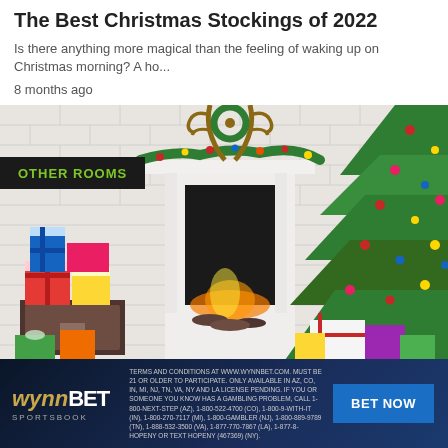The Best Christmas Stockings of 2022
Is there anything more magical than the feeling of waking up on Christmas morning? A ho...
8 months ago
[Figure (photo): Christmas scene with a decorated fireplace mantel featuring garland and ornaments, antler decor, a lit fireplace with logs, colorful wrapped gifts stacked on the left near a wooden chest, and a decorated Christmas tree on the right with presents underneath. White brick wall background. Overlaid with a dark banner reading 'OTHER ROOMS' in green text.]
[Figure (infographic): WynnBET Sportsbook advertisement banner with dark blue background. Shows WynnBET logo on the left in gold and white, disclaimer text in the center, and a 'BET NOW' blue button on the right.]